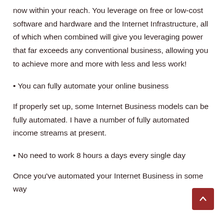now within your reach. You leverage on free or low-cost software and hardware and the Internet Infrastructure, all of which when combined will give you leveraging power that far exceeds any conventional business, allowing you to achieve more and more with less and less work!
• You can fully automate your online business
If properly set up, some Internet Business models can be fully automated. I have a number of fully automated income streams at present.
• No need to work 8 hours a days every single day
Once you've automated your Internet Business in some way